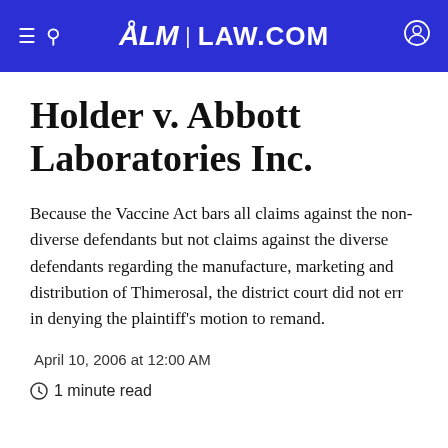ALM | LAW.COM
Holder v. Abbott Laboratories Inc.
Because the Vaccine Act bars all claims against the non-diverse defendants but not claims against the diverse defendants regarding the manufacture, marketing and distribution of Thimerosal, the district court did not err in denying the plaintiff's motion to remand.
April 10, 2006 at 12:00 AM
1 minute read